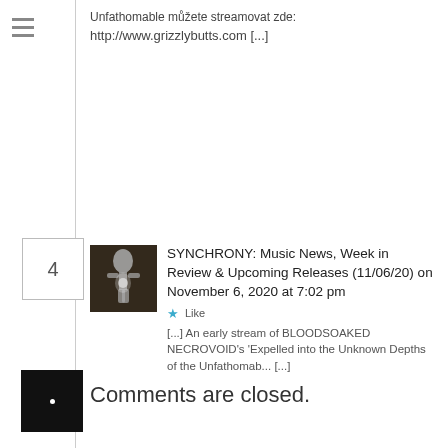Unfathomable můžete streamovat zde:
http://www.grizzlybutts.com [...]
[Figure (photo): Thumbnail image of a skeleton figure glowing in the dark, seated]
SYNCHRONY: Music News, Week in Review & Upcoming Releases (11/06/20) on November 6, 2020 at 7:02 pm
[...] An early stream of BLOODSOAKED NECROVOID's 'Expelled into the Unknown Depths of the Unfathomab... [...]
Comments are closed.